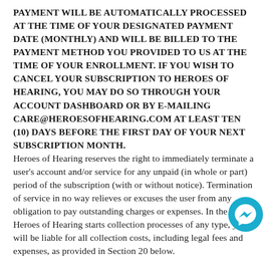PAYMENT WILL BE AUTOMATICALLY PROCESSED AT THE TIME OF YOUR DESIGNATED PAYMENT DATE (MONTHLY) AND WILL BE BILLED TO THE PAYMENT METHOD YOU PROVIDED TO US AT THE TIME OF YOUR ENROLLMENT. IF YOU WISH TO CANCEL YOUR SUBSCRIPTION TO HEROES OF HEARING, YOU MAY DO SO THROUGH YOUR ACCOUNT DASHBOARD OR BY E-MAILING CARE@HEROESOFHEARING.COM AT LEAST TEN (10) DAYS BEFORE THE FIRST DAY OF YOUR NEXT SUBSCRIPTION MONTH. Heroes of Hearing reserves the right to immediately terminate a user's account and/or service for any unpaid (in whole or part) period of the subscription (with or without notice). Termination of service in no way relieves or excuses the user from any obligation to pay outstanding charges or expenses. In the event Heroes of Hearing starts collection processes of any type, you will be liable for all collection costs, including legal fees and expenses, as provided in Section 20 below.